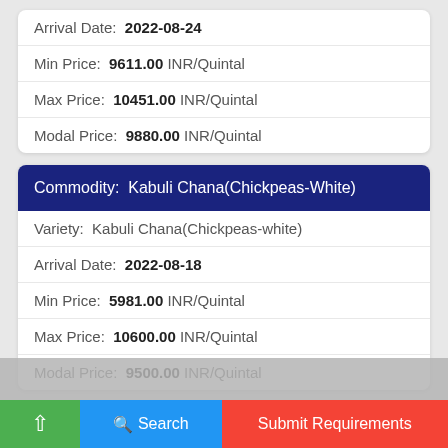| Arrival Date: | 2022-08-24 |
| Min Price: | 9611.00 INR/Quintal |
| Max Price: | 10451.00 INR/Quintal |
| Modal Price: | 9880.00 INR/Quintal |
| Commodity: Kabuli Chana(Chickpeas-White) |
| --- |
| Variety: | Kabuli Chana(Chickpeas-white) |
| Arrival Date: | 2022-08-18 |
| Min Price: | 5981.00 INR/Quintal |
| Max Price: | 10600.00 INR/Quintal |
| Modal Price: | 9500.00 INR/Quintal |
| Commodity: Kabuli Chana(Chickpeas-White) |
| --- |
| Variety: | Kabuli Chana(Chickpeas-white) |